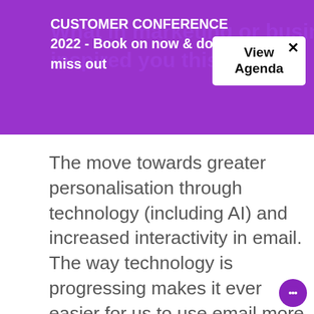CUSTOMER CONFERENCE 2022 - Book on now & don't miss out
What in marketing or business inspired you this year?
View Agenda
The move towards greater personalisation through technology (including AI) and increased interactivity in email. The way technology is progressing makes it ever easier for us to use email more intelligently to better serve our customers; and post GDPR we have seen these
This website stores cookies on your computer. These cookies are used to collect information about how you interact with our website and allow us to remember you. We use this information in order to improve and customise your browsing experience and for analytics and metrics about our visitors both on this website and other media. To find out more about the cookies we use, see our Privacy Policy.
Accept